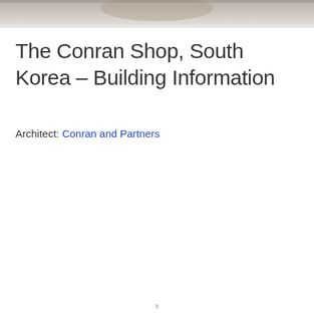[Figure (photo): Partial photograph of an interior or exterior scene, cropped at top of page]
The Conran Shop, South Korea – Building Information
Architect: Conran and Partners